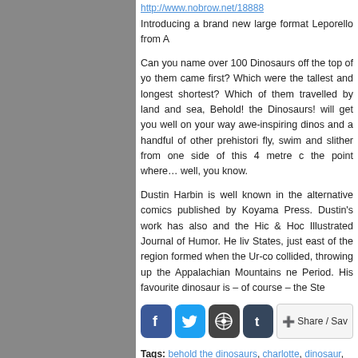http://www.nobrow.net/18888
Introducing a brand new large format Leporello from A
Can you name over 100 Dinosaurs off the top of yo... them came first? Which were the tallest and longest... shortest? Which of them travelled by land and sea,... Behold! the Dinosaurs! will get you well on your way... awe-inspiring dinos and a handful of other prehistori... fly, swim and slither from one side of this 4 metre c... the point where… well, you know.
Dustin Harbin is well known in the alternative comics... published by Koyama Press. Dustin's work has also... and the Hic & Hoc Illustrated Journal of Humor. He liv... States, just east of the region formed when the Ur-co... collided, throwing up the Appalachian Mountains ne... Period. His favourite dinosaur is – of course – the Ste
[Figure (other): Social sharing icons: Facebook, Twitter, WordPress, Tumblr, Share/Save button]
Tags: behold the dinosaurs, charlotte, dinosaur, D... nobrow, small business saturday
No Comments →
« Previous Entries